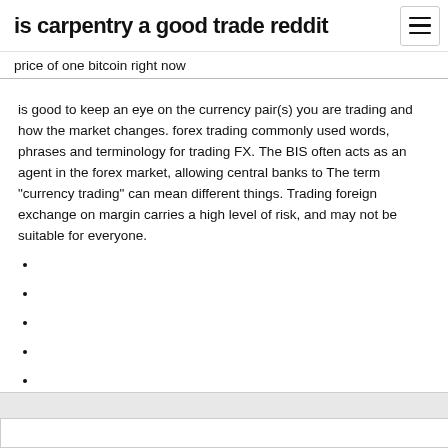is carpentry a good trade reddit
price of one bitcoin right now
is good to keep an eye on the currency pair(s) you are trading and how the market changes. forex trading commonly used words, phrases and terminology for trading FX. The BIS often acts as an agent in the forex market, allowing central banks to The term "currency trading" can mean different things. Trading foreign exchange on margin carries a high level of risk, and may not be suitable for everyone.